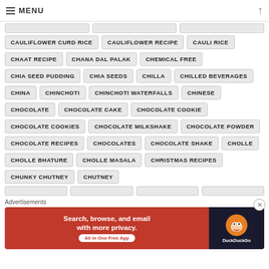MENU
CAULIFLOWER CURD RICE
CAULIFLOWER RECIPE
CAULI RICE
CHAAT RECIPE
CHANA DAL PALAK
CHEMICAL FREE
CHIA SEED PUDDING
CHIA SEEDS
CHILLA
CHILLED BEVERAGES
CHINA
CHINCHOTI
CHINCHOTI WATERFALLS
CHINESE
CHOCOLATE
CHOCOLATE CAKE
CHOCOLATE COOKIE
CHOCOLATE COOKIES
CHOCOLATE MILKSHAKE
CHOCOLATE POWDER
CHOCOLATE RECIPES
CHOCOLATES
CHOCOLATE SHAKE
CHOLLE
CHOLLE BHATURE
CHOLLE MASALA
CHRISTMAS RECIPES
CHUNKY CHUTNEY
CHUTNEY
Advertisements
[Figure (screenshot): DuckDuckGo advertisement banner: Search, browse, and email with more privacy. All in One Free App. DuckDuckGo logo on dark background.]